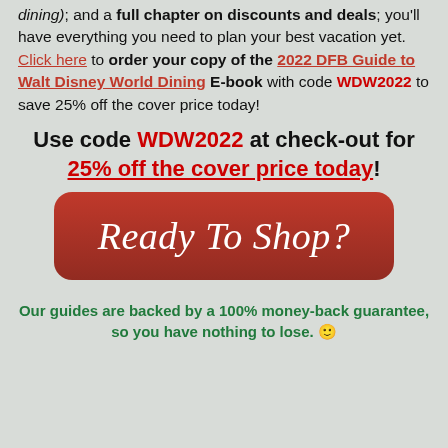dining); and a full chapter on discounts and deals; you'll have everything you need to plan your best vacation yet. Click here to order your copy of the 2022 DFB Guide to Walt Disney World Dining E-book with code WDW2022 to save 25% off the cover price today!
Use code WDW2022 at check-out for 25% off the cover price today!
[Figure (other): Red rounded rectangle button with cursive white text reading 'Ready To Shop?']
Our guides are backed by a 100% money-back guarantee, so you have nothing to lose. 🙂